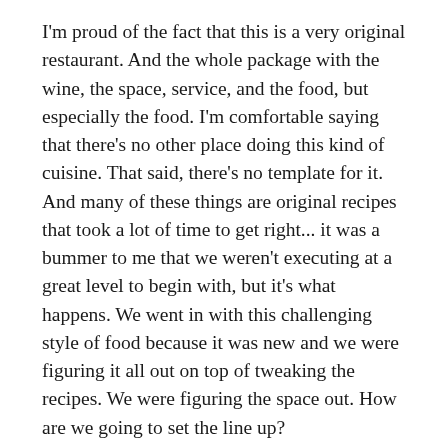I'm proud of the fact that this is a very original restaurant. And the whole package with the wine, the space, service, and the food, but especially the food. I'm comfortable saying that there's no other place doing this kind of cuisine. That said, there's no template for it. And many of these things are original recipes that took a lot of time to get right... it was a bummer to me that we weren't executing at a great level to begin with, but it's what happens. We went in with this challenging style of food because it was new and we were figuring it all out on top of tweaking the recipes. We were figuring the space out. How are we going to set the line up?
How would you deal with the troops when that would happen? Morale can take a hit after a